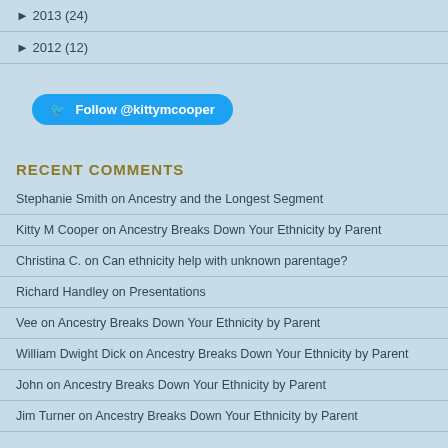► 2013 (24)
► 2012 (12)
Follow @kittymcooper
RECENT COMMENTS
Stephanie Smith on Ancestry and the Longest Segment
Kitty M Cooper on Ancestry Breaks Down Your Ethnicity by Parent
Christina C. on Can ethnicity help with unknown parentage?
Richard Handley on Presentations
Vee on Ancestry Breaks Down Your Ethnicity by Parent
William Dwight Dick on Ancestry Breaks Down Your Ethnicity by Parent
John on Ancestry Breaks Down Your Ethnicity by Parent
Jim Turner on Ancestry Breaks Down Your Ethnicity by Parent